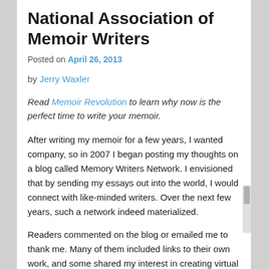National Association of Memoir Writers
Posted on April 26, 2013
by Jerry Waxler
Read Memoir Revolution to learn why now is the perfect time to write your memoir.
After writing my memoir for a few years, I wanted company, so in 2007 I began posting my thoughts on a blog called Memory Writers Network. I envisioned that by sending my essays out into the world, I would connect with like-minded writers. Over the next few years, such a network indeed materialized.
Readers commented on the blog or emailed me to thank me. Many of them included links to their own work, and some shared my interest in creating virtual communities. Shirley Showalter, and Sharon Lippincott, and later